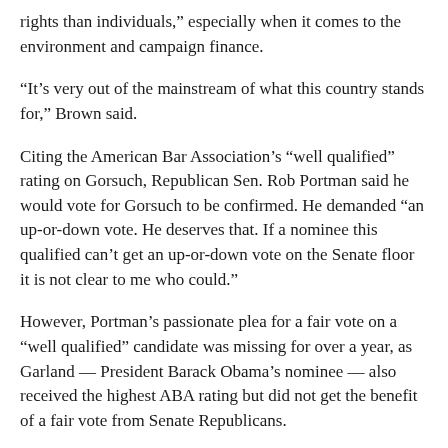rights than individuals," especially when it comes to the environment and campaign finance.
“It’s very out of the mainstream of what this country stands for,” Brown said.
Citing the American Bar Association’s “well qualified” rating on Gorsuch, Republican Sen. Rob Portman said he would vote for Gorsuch to be confirmed. He demanded “an up-or-down vote. He deserves that. If a nominee this qualified can’t get an up-or-down vote on the Senate floor it is not clear to me who could.”
However, Portman’s passionate plea for a fair vote on a “well qualified” candidate was missing for over a year, as Garland — President Barack Obama’s nominee — also received the highest ABA rating but did not get the benefit of a fair vote from Senate Republicans.
Planned Parenthood has taken a strong stance against Gorsuch and “his history of interfering with reproductive rights and health, including access to birth control."